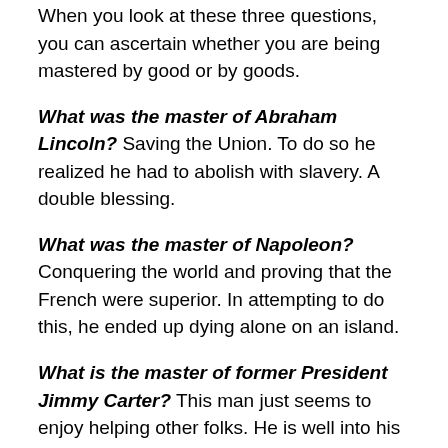When you look at these three questions, you can ascertain whether you are being mastered by good or by goods.
What was the master of Abraham Lincoln? Saving the Union. To do so he realized he had to abolish with slavery. A double blessing.
What was the master of Napoleon? Conquering the world and proving that the French were superior. In attempting to do this, he ended up dying alone on an island.
What is the master of former President Jimmy Carter? This man just seems to enjoy helping other folks. He is well into his nineties and still keeps picking up a hammer.
You will be compelled, constrained, urged and coerced to do something from some thing which has gained the full